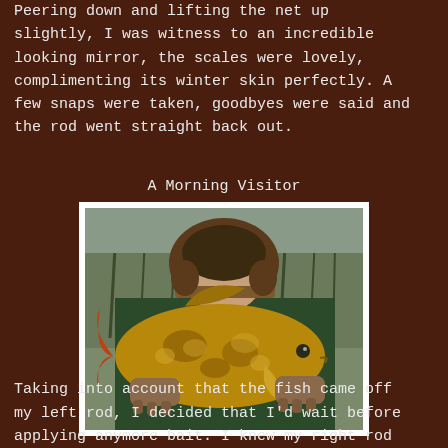Peering down and lifting the net up slightly, I was witness to an incredible looking mirror, the scales were lovely, complimenting its winter skin perfectly. A few snaps were taken, goodbyes were said and the rod went straight back out.
A Morning Visitor
[Figure (photo): A person in a hooded winter hat and jacket holding up a large mirror carp fish with both hands, outdoors near a lake with bare trees in the background.]
Taking into account that the fish came off my left rod, I decided that I'd wait before applying anymore bait. I knew my right rod